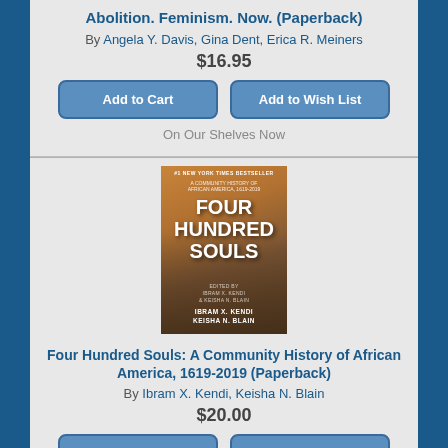Abolition. Feminism. Now. (Paperback)
By Angela Y. Davis, Gina Dent, Erica R. Meiners
$16.95
Add to Cart
Add to Wish List
On Our Shelves Now
[Figure (photo): Book cover of 'Four Hundred Souls: A Community History of African America, 1619-2019' edited by Ibram X. Kendi and Keisha N. Blain. #1 New York Times Bestseller. Cover shows a colorful crowd scene with bold white text.]
Four Hundred Souls: A Community History of African America, 1619-2019 (Paperback)
By Ibram X. Kendi, Keisha N. Blain
$20.00
Add to Cart
Add to Wish List